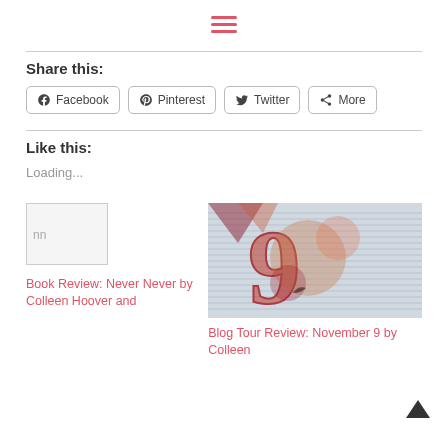☰ (hamburger menu icon)
Share this:
Facebook  Pinterest  Twitter  More
Like this:
Loading...
[Figure (illustration): Broken image placeholder labeled 'nn']
Book Review: Never Never by Colleen Hoover and
[Figure (photo): Abstract illustration featuring a large number 9 overlaid on city imagery in shades of red, orange, and blue-gray]
Blog Tour Review: November 9 by Colleen